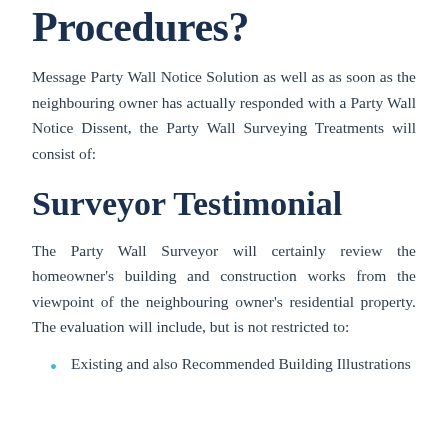Wall Choosing Procedures?
Message Party Wall Notice Solution as well as as soon as the neighbouring owner has actually responded with a Party Wall Notice Dissent, the Party Wall Surveying Treatments will consist of:
Surveyor Testimonial
The Party Wall Surveyor will certainly review the homeowner's building and construction works from the viewpoint of the neighbouring owner's residential property. The evaluation will include, but is not restricted to:
Existing and also Recommended Building Illustrations